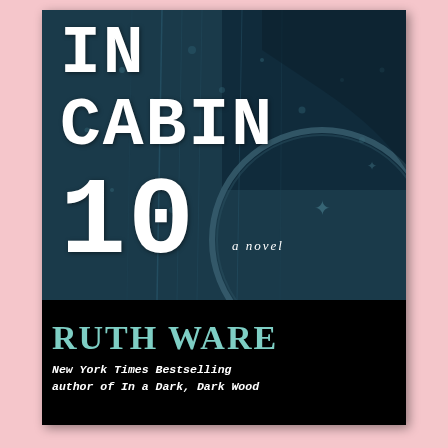[Figure (illustration): Book cover for 'In Cabin 10' by Ruth Ware. Dark teal/blue background showing a rain-streaked window with a circular porthole. Large white typewriter-style text reads 'IN CABIN 10 a novel'. Below in teal text: 'RUTH WARE'. Subtitle in white italic monospace: 'New York Times Bestselling author of In a Dark, Dark Wood'.]